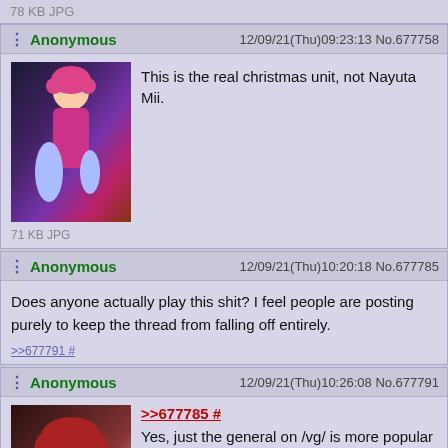78 KB JPG
Anonymous  12/09/21(Thu)09:23:13 No.677758
[Figure (illustration): Anime characters illustration thumbnail]
This is the real christmas unit, not Nayuta Mii.
71 KB JPG
Anonymous  12/09/21(Thu)10:20:18 No.677785
Does anyone actually play this shit? I feel people are posting purely to keep the thread from falling off entirely.
>>677791 #
Anonymous  12/09/21(Thu)10:26:08 No.677791
[Figure (illustration): Anime girl with red hair thumbnail]
>>677785 #
Yes, just the general on /vg/ is more popular though so no-one posts here much.